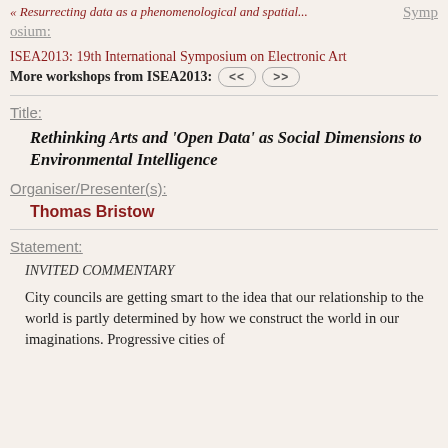« Resurrecting data as a phenomenological and spatial...
Symposium:
ISEA2013: 19th International Symposium on Electronic Art
More workshops from ISEA2013: << >>
Title:
Rethinking Arts and 'Open Data' as Social Dimensions to Environmental Intelligence
Organiser/Presenter(s):
Thomas Bristow
Statement:
INVITED COMMENTARY
City councils are getting smart to the idea that our relationship to the world is partly determined by how we construct the world in our imaginations. Progressive cities of